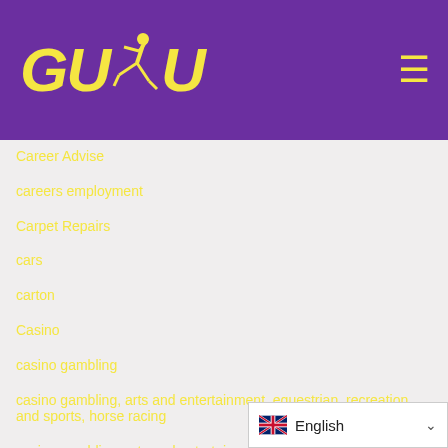[Figure (logo): GUDU logo with yellow stylized text and running figure on purple background, with hamburger menu icon]
Career Advise
careers employment
Carpet Repairs
cars
carton
Casino
casino gambling
casino gambling, arts and entertainment, equestrian, recreation and sports, horse racing
casino gambling, arts and entertainment, internet and businesses online, online gaming, gaming
casino gambling, arts and entertainment, online communications, mobile cell phone reviews